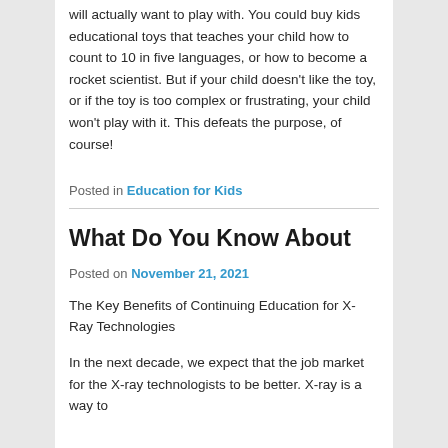will actually want to play with. You could buy kids educational toys that teaches your child how to count to 10 in five languages, or how to become a rocket scientist. But if your child doesn't like the toy, or if the toy is too complex or frustrating, your child won't play with it. This defeats the purpose, of course!
Posted in Education for Kids
What Do You Know About
Posted on November 21, 2021
The Key Benefits of Continuing Education for X-Ray Technologies
In the next decade, we expect that the job market for the X-ray technologists to be better. X-ray is a way to